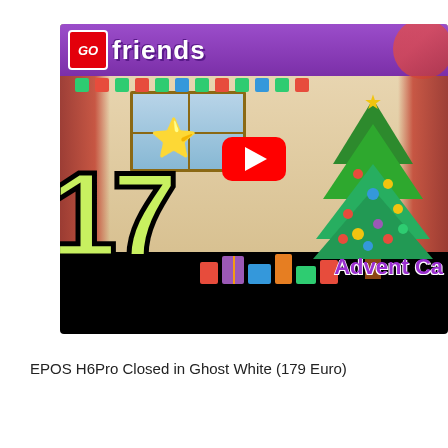[Figure (screenshot): YouTube video thumbnail for LEGO Friends Advent Calendar Day 17, showing a Christmas scene with a decorated tree, colorful gifts, number 17 in large yellow-green text, a star decoration, curtains, a window with snowy scene, and the LEGO Friends logo at top. A red YouTube play button is overlaid in the center. Text 'Advent Ca' is partially visible in bottom right.]
EPOS H6Pro Closed in Ghost White (179 Euro)